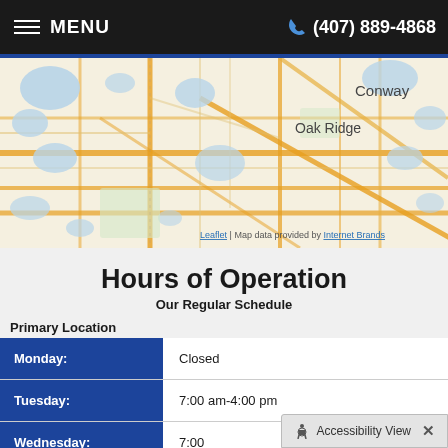MENU  (407) 889-4868
[Figure (map): Street map showing Conway and Oak Ridge areas in Orlando, Florida. Map features roads, water bodies (shown in blue), and neighborhood labels. Attribution: Leaflet | Map data provided by Internet Brands.]
Leaflet | Map data provided by Internet Brands
Hours of Operation
Our Regular Schedule
Primary Location
| Day | Hours |
| --- | --- |
| Monday: | Closed |
| Tuesday: | 7:00 am-4:00 pm |
| Wednesday: | 7:00 |
Accessibility View